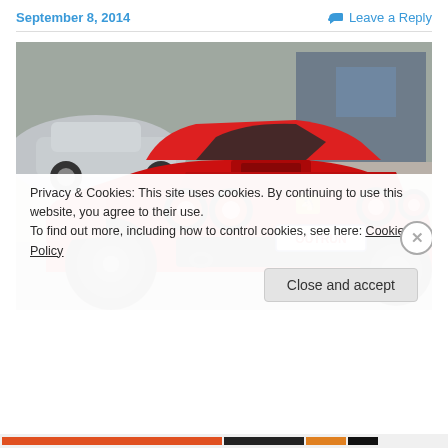September 8, 2014    💬 Leave a Reply
[Figure (photo): Rear view of a red Ferrari (license plate: OUTRUN) parked on a street, with other cars and storefronts visible in the background.]
Privacy & Cookies: This site uses cookies. By continuing to use this website, you agree to their use.
To find out more, including how to control cookies, see here: Cookie Policy
Close and accept